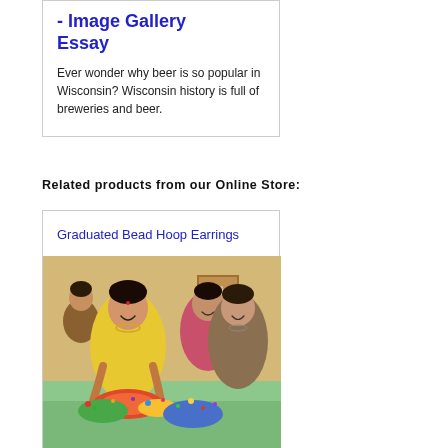- Image Gallery Essay
Ever wonder why beer is so popular in Wisconsin? Wisconsin history is full of breweries and beer.
Related products from our Online Store:
Graduated Bead Hoop Earrings
[Figure (photo): Women in colorful traditional Indian clothing sitting at a table making beaded jewelry, smiling and working with beads and crafts]